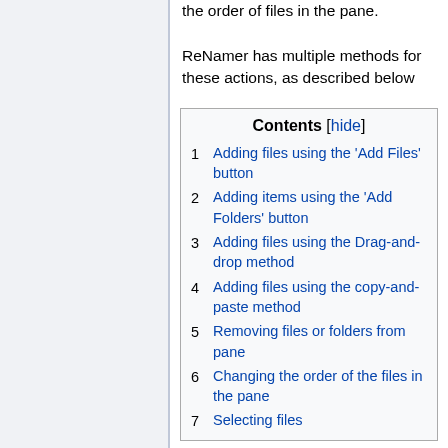the order of files in the pane.
ReNamer has multiple methods for these actions, as described below
| Contents [hide] |
| --- |
| 1  Adding files using the 'Add Files' button |
| 2  Adding items using the 'Add Folders' button |
| 3  Adding files using the Drag-and-drop method |
| 4  Adding files using the copy-and-paste method |
| 5  Removing files or folders from pane |
| 6  Changing the order of the files in the pane |
| 7  Selecting files |